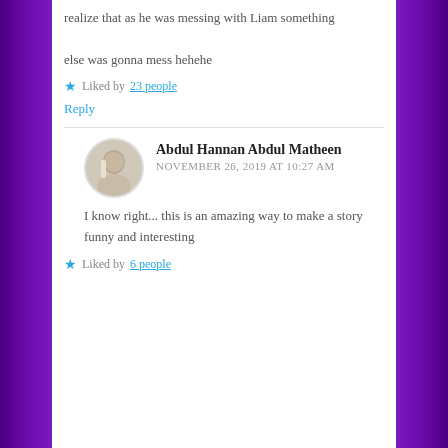realize that as he was messing with Liam something

else was gonna mess hehehe
Liked by 23 people
Reply
Abdul Hannan Abdul Matheen
NOVEMBER 26, 2019 AT 10:27 AM
I know right... this is an amazing way to make a story funny and interesting
Liked by 6 people